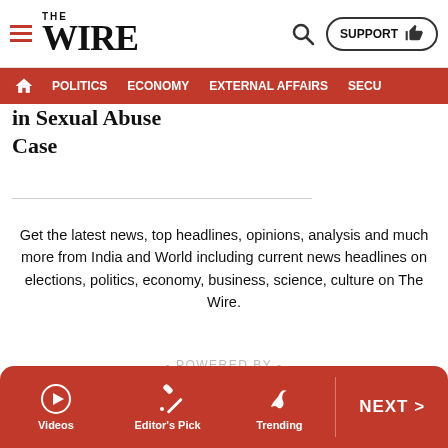THE WIRE — SUPPORT | POLITICS | ECONOMY | EXTERNAL AFFAIRS | SECU...
in Sexual Abuse Case
Get the latest news, top headlines, opinions, analysis and much more from India and World including current news headlines on elections, politics, economy, business, science, culture on The Wire.
- POWERED BY -
Videos | Editor's Pick | Trending | NEXT >